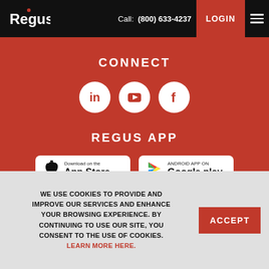Regus  Call: (800) 633-4237  LOGIN
CONNECT
[Figure (illustration): Three white circular social media icons on red background: LinkedIn, YouTube, Facebook]
REGUS APP
[Figure (illustration): Two app store download buttons: Download on the App Store and Android App on Google play]
WE USE COOKIES TO PROVIDE AND IMPROVE OUR SERVICES AND ENHANCE YOUR BROWSING EXPERIENCE. BY CONTINUING TO USE OUR SITE, YOU CONSENT TO THE USE OF COOKIES. LEARN MORE HERE.